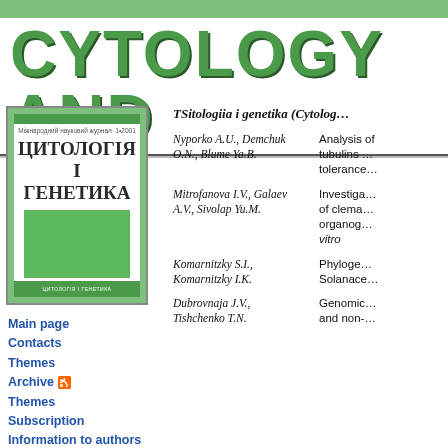CYTOLOGY AND
[Figure (illustration): Cover of the journal 'Tsitologiia i Genetika' (Cytology and Genetics), volume 1-2001, showing Cyrillic title ЦИТОЛОГІЯ І ГЕНЕТИКА with green cover design]
Main page
Contacts
Themes
Archive
Themes
Subscription
Information to authors
TSitologiia i genetika (Cytolog…
Nyporko A.U., Demchuk O.N., Blume Ya.B. — Analysis of tubulins … tolerance…
Mitrofanova I.V., Galaev A.V., Sivolap Yu.M. — Investigation of clema… organog… vitro
Komarnitzky S.I., Komarnitzky I.K. — Phyloge… Solanace…
Dubrovnaja J.V., Tishchenko T.N. — Genomic… and non-…